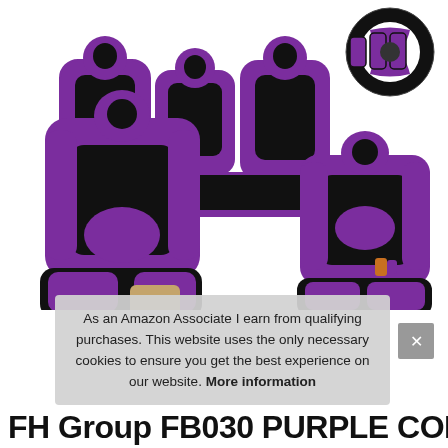[Figure (photo): Purple and black car seat covers set showing front and rear seats with headrests, plus a steering wheel cover and seat belt pads shown in top right corner. Products displayed on white background.]
As an Amazon Associate I earn from qualifying purchases. This website uses the only necessary cookies to ensure you get the best experience on our website. More information
FH Group FB030 PURPLE COMBO Seat